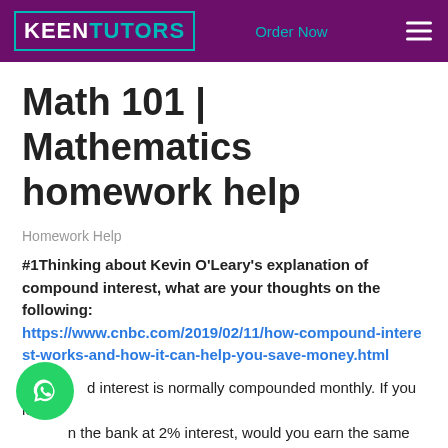KEEN TUTORS | Order Now
Math 101 | Mathematics homework help
Homework Help
#1Thinking about Kevin O'Leary's explanation of compound interest, what are your thoughts on the following: https://www.cnbc.com/2019/02/11/how-compound-interest-works-and-how-it-can-help-you-save-money.html
Compound interest is normally compounded monthly. If you left in the bank at 2% interest, would you earn the same amount of interest every month? Explain why. Consider a mortgage at 3.5% interest compounded monthly?